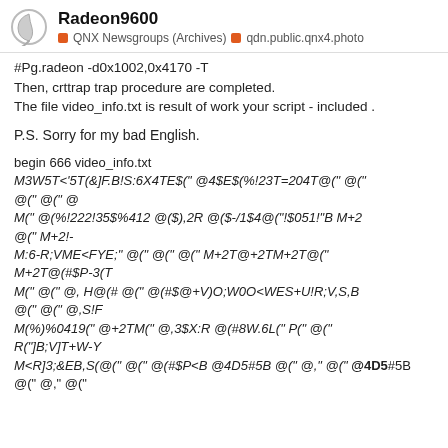Radeon9600 — QNX Newsgroups (Archives) — qdn.public.qnx4.photo
#Pg.radeon -d0x1002,0x4170 -T
Then, crttrap trap procedure are completed.
The file video_info.txt is result of work your script - included .
P.S. Sorry for my bad English.
begin 666 video_info.txt
M3W5T<'5T(&]F.B!S:6X4TE$(" @4$E$(%!23T=204T@(" @("
@(" @(" @
M(" @(%!222!35$%412 @($),2R @($-/1$4@("!$051!"B M+2
@(" M+2!-
M:6-R;VME<FYE;" @(" @(" @(" M+2T@+2TM+2T@("
M+2T@(#$P-3(T
M(" @(" @, H@(# @(" @(#$@+V)O;W0O<WES+U!R;V,S,B
@(" @(" @,S!F
M(%)%0419(" @+2TM(" @,3$X:R @(#8W.6L(" P(" @("
R("]B;V]T+W-Y
M<R]3;&EB,S(@(" @(" @(#$P<B @4D5#5B @(" @," @("